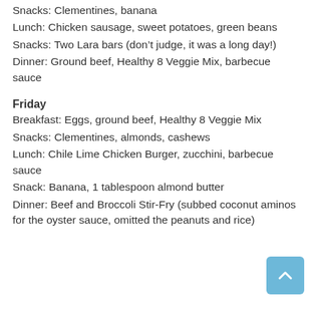Snacks: Clementines, banana
Lunch: Chicken sausage, sweet potatoes, green beans
Snacks: Two Lara bars (don't judge, it was a long day!)
Dinner: Ground beef, Healthy 8 Veggie Mix, barbecue sauce
Friday
Breakfast: Eggs, ground beef, Healthy 8 Veggie Mix
Snacks: Clementines, almonds, cashews
Lunch: Chile Lime Chicken Burger, zucchini, barbecue sauce
Snack: Banana, 1 tablespoon almond butter
Dinner: Beef and Broccoli Stir-Fry (subbed coconut aminos for the oyster sauce, omitted the peanuts and rice)